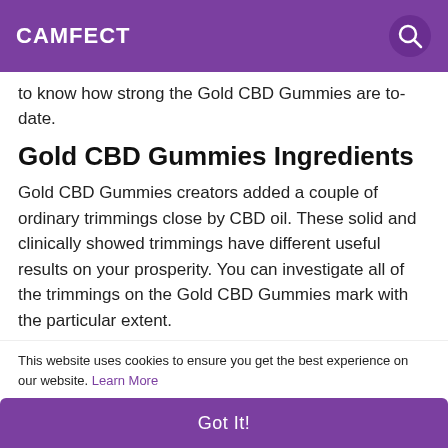CAMFECT
to know how strong the Gold CBD Gummies are to-date.
Gold CBD Gummies Ingredients
Gold CBD Gummies creators added a couple of ordinary trimmings close by CBD oil. These solid and clinically showed trimmings have different useful results on your prosperity. You can investigate all of the trimmings on the Gold CBD Gummies mark with the particular extent.
== Click Here To Order : Don’t
This website uses cookies to ensure you get the best experience on our website. Learn More
Got It!